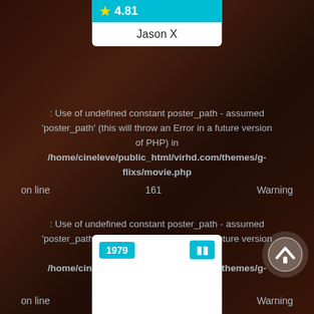[Figure (screenshot): Movie card showing star rating 4.81 for Jason X]
: Use of undefined constant poster_path - assumed 'poster_path' (this will throw an Error in a future version of PHP) in /home/cineleve/public_html/virhd.com/themes/g-flixs/movie.php on line 161 Warning
: Use of undefined constant poster_path - assumed 'poster_path' (this will throw an Error in a future version of PHP) in /home/cineleve/public_html/virhd.com/themes/g-flixs/movie.php on line 162 Warning
[Figure (screenshot): Movie card bottom showing year 1979 and film icon badge]